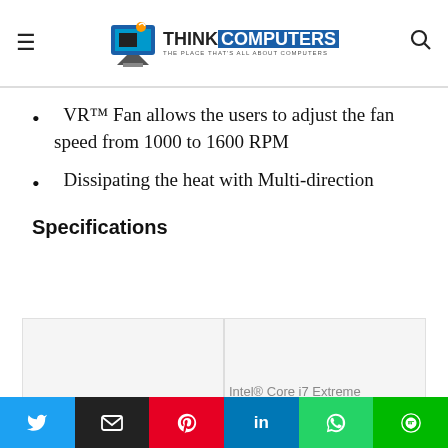ThinkComputers — The Place That's All About Computers
VR™ Fan allows the users to adjust the fan speed from 1000 to 1600 RPM
Dissipating the heat with Multi-direction
Specifications
|  |  |
| --- | --- |
|  | Intel® Core i7 Extreme |
This website uses cookies.
[Figure (other): Social sharing buttons: Twitter, Email, Pinterest, LinkedIn, WhatsApp, LINE]